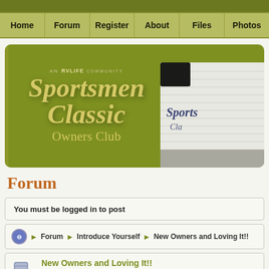Home | Forum | Register | About | Files | Photos
[Figure (logo): Sportsmen Classic Owners Club banner with olive/green background, decorative script text 'Sportsmen Classic Owners Club', 'AN RVLIFE COMMUNITY' tagline, and partial photo of a white RV trailer with 'Sports Cla' branding visible]
Forum
You must be logged in to post
Forum ▶ Introduce Yourself ▶ New Owners and Loving It!!
New Owners and Loving It!! No Status Selected